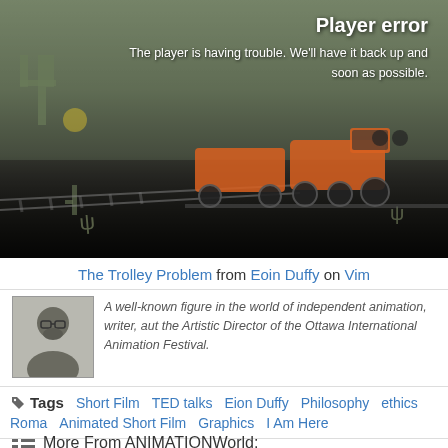[Figure (screenshot): Video player showing player error message over a cartoon desert scene with a train. Text reads 'Player error' and 'The player is having trouble. We'll have it back up and soon as possible.']
The Trolley Problem from Eoin Duffy on Vim
[Figure (photo): Author photo - a man with glasses and a beard]
A well-known figure in the world of independent animation, writer, aut the Artistic Director of the Ottawa International Animation Festival.
Tags  Short Film  TED talks  Eion Duffy  Philosophy  ethics  Roma  Animated Short Film  Graphics  I Am Here
More From ANIMATIONWorld: